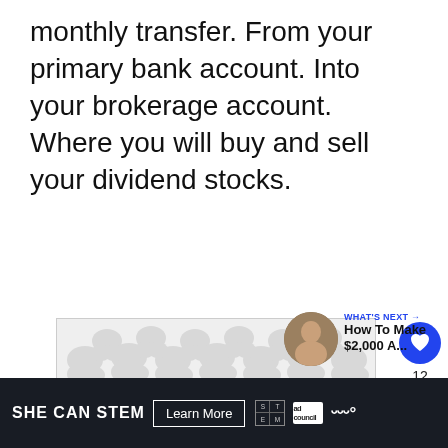monthly transfer. From your primary bank account. Into your brokerage account. Where you will buy and sell your dividend stocks.
[Figure (other): Advertisement placeholder with decorative blob/pebble pattern in light grey]
[Figure (infographic): Social media UI overlay: heart/like button (blue circle, count 12), share button, What's Next panel with thumbnail and text 'How To Make $2,000 A...']
SHE CAN STEM  Learn More  [STEM logo] [ad council logo] [wave logo]